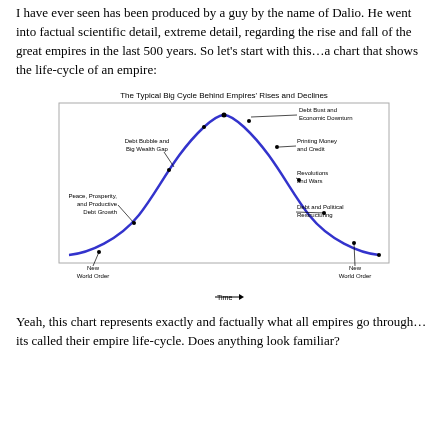I have ever seen has been produced by a guy by the name of Dalio. He went into factual scientific detail, extreme detail, regarding the rise and fall of the great empires in the last 500 years. So let's start with this…a chart that shows the life-cycle of an empire:
[Figure (continuous-plot): A bell-shaped curve (blue line) showing the rise and fall of an empire over time. The ascending side is labeled with 'New World Order', 'Peace, Prosperity, and Productive Debt Growth', and 'Debt Bubble and Big Wealth Gap'. The peak area is labeled 'Debt Bust and Economic Downturn'. The descending side is labeled 'Printing Money and Credit', 'Revolutions and Wars', 'Debt and Political Restructuring', and 'New World Order'. The x-axis is labeled 'Time' with an arrow.]
Yeah, this chart represents exactly and factually what all empires go through…its called their empire life-cycle. Does anything look familiar?